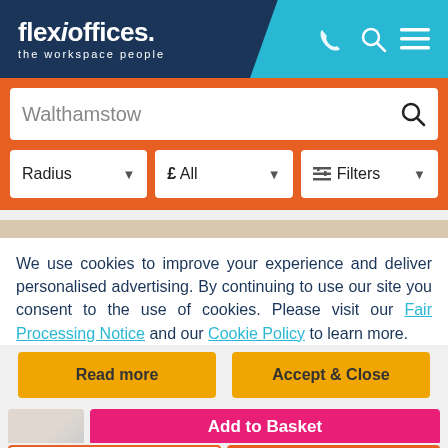[Figure (screenshot): Flexioffices website header with logo 'flexioffices. the workspace people' on dark navy background, with phone, search, and menu icons on cyan/blue right side]
[Figure (screenshot): Search bar showing 'Walthamstow' with magnifying glass icon, and filter dropdowns: Radius, £ All, Filters — all on orange background]
We use cookies to improve your experience and deliver personalised advertising. By continuing to use our site you consent to the use of cookies. Please visit our Fair Processing Notice and our Cookie Policy to learn more.
[Figure (screenshot): Two yellow buttons: 'Read more' and 'Accept & Close']
[Figure (screenshot): Office listing thumbnail with pink 'Add to Basket' button, and 'Request Quote' (outline orange) and 'View Details' (solid orange) buttons below]